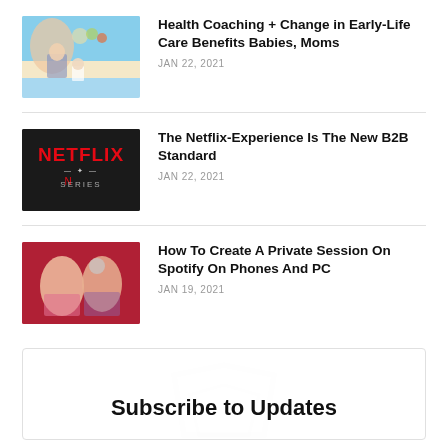[Figure (photo): Mother and child on beach with colorful balloons]
Health Coaching + Change in Early-Life Care Benefits Babies, Moms
JAN 22, 2021
[Figure (photo): Netflix Series logo/branding on dark background]
The Netflix-Experience Is The New B2B Standard
JAN 22, 2021
[Figure (photo): Two young people, man in pink shirt and woman with headphones, on red background]
How To Create A Private Session On Spotify On Phones And PC
JAN 19, 2021
Subscribe to Updates